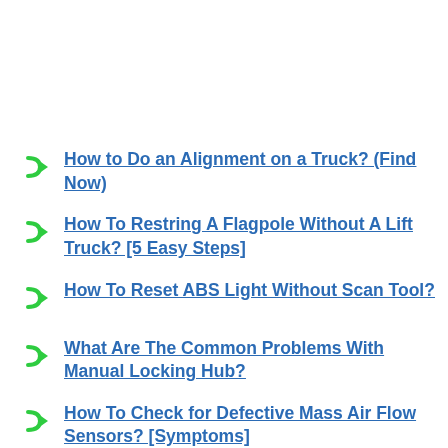How to Do an Alignment on a Truck? (Find Now)
How To Restring A Flagpole Without A Lift Truck? [5 Easy Steps]
How To Reset ABS Light Without Scan Tool?
What Are The Common Problems With Manual Locking Hub?
How To Check for Defective Mass Air Flow Sensors? [Symptoms]